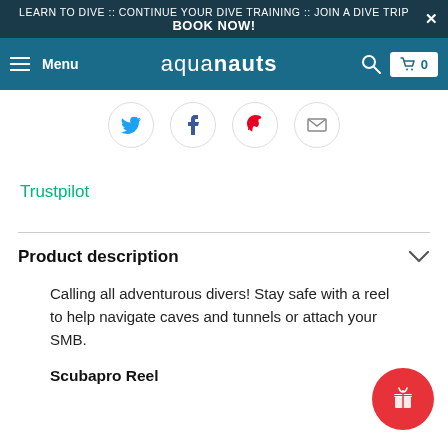LEARN TO DIVE :: CONTINUE YOUR DIVE TRAINING :: JOIN A DIVE TRIP BOOK NOW!
Menu aquanauts 0
[Figure (screenshot): Social sharing icons row: Twitter, Facebook, Pinterest, Email]
Trustpilot
Product description
Calling all adventurous divers! Stay safe with a reel to help navigate caves and tunnels or attach your SMB.
Scubapro Reel